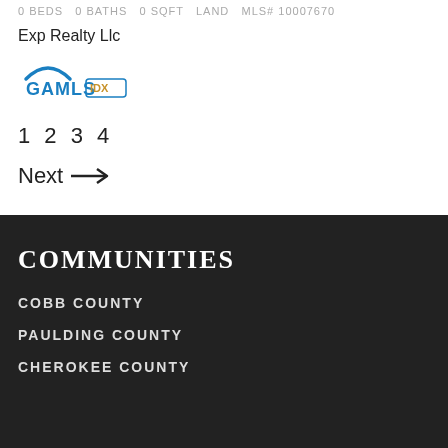0 BEDS  0 BATHS  0 SQFT  LAND  MLS# 10007670
Exp Realty Llc
[Figure (logo): GAMLS IDX logo with blue house roof icon and orange/blue text]
1 2 3 4
Next →
COMMUNITIES
COBB COUNTY
PAULDING COUNTY
CHEROKEE COUNTY